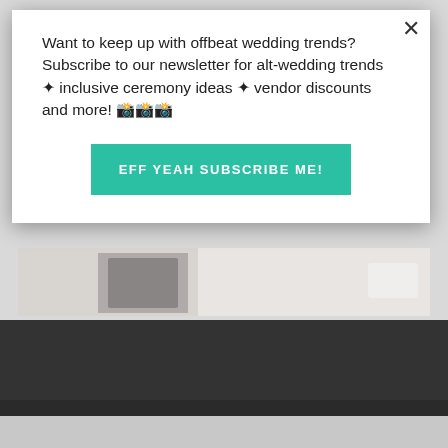Want to keep up with offbeat wedding trends?Subscribe to our newsletter for alt-wedding trends ✦ inclusive ceremony ideas ✦ vendor discounts and more! 🎉🎉🎉
EFF YEAH SUBSCRIBE ME!
[Figure (photo): Partial view of a wedding-related photo visible behind the modal popup]
SUBSCRIBE